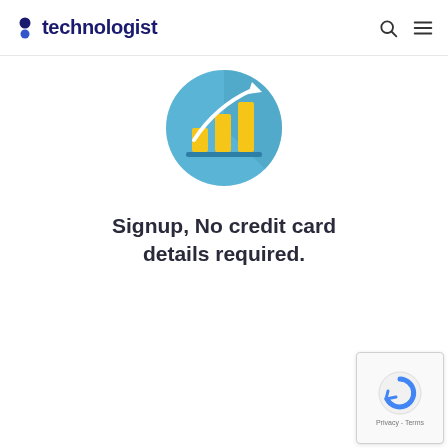8 technologist
[Figure (illustration): Circular blue icon with yellow bar chart and upward white arrow, representing growth/analytics]
Signup, No credit card details required.
[Figure (other): reCAPTCHA widget with privacy and terms text]